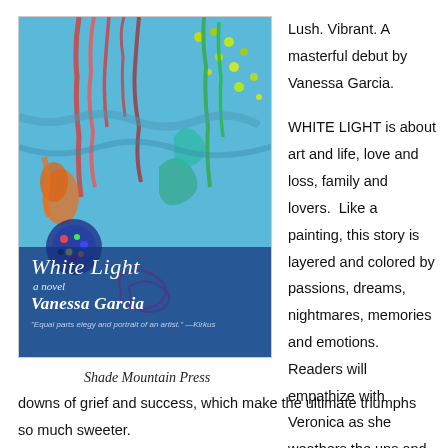[Figure (photo): Book cover of 'White Light, a novel' by Vanessa Garcia, published by Shade Mountain Press. The cover features colorful abstract painting with blue background and vibrant splashes of red, yellow, green. The bottom portion has a dark blue overlay with the title and author name.]
Shade Mountain Press
Lush. Vibrant. A masterful debut by Vanessa Garcia.
WHITE LIGHT is about art and life, love and loss, family and lovers.  Like a painting, this story is layered and colored by passions, dreams, nightmares, memories and emotions.   Readers will empathize with Veronica as she weathers the ups and downs of grief and success, which make the ultimate triumphs so much sweeter.